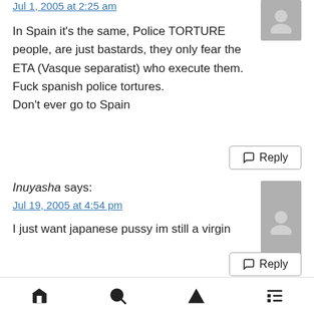Jul 1, 2005 at 2:25 am
In Spain it's the same, Police TORTURE people, are just bastards, they only fear the ETA (Vasque separatist) who execute them.
Fuck spanish police tortures.
Don't ever go to Spain
Reply
Inuyasha says:
Jul 19, 2005 at 4:54 pm
I just want japanese pussy im still a virgin
Reply
ziggy says:
Jul 21, 2005 at 1:12 pm